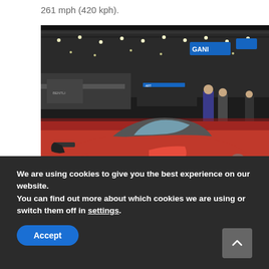261 mph (420 kph).
[Figure (photo): Red and black Bugatti Chiron Sport supercar on display at the Geneva Motor Show, photographed from a front-side angle on a red floor. Exhibition hall with other booths visible in background along with spectators. A Bugatti logo sign visible in upper background.]
Bugatti at Geneva salon/Ph:Motor1
We are using cookies to give you the best experience on our website.
You can find out more about which cookies we are using or switch them off in settings.